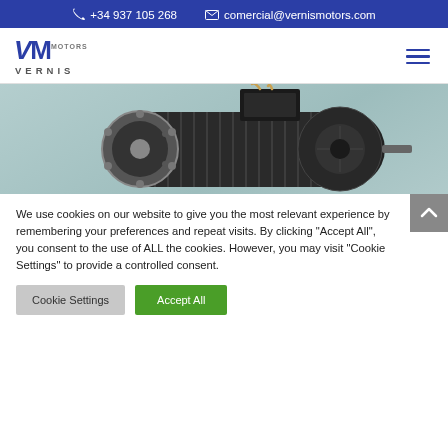+34 937 105 268   comercial@vernismotors.com
[Figure (logo): Vernis Motors logo with VM letters in dark blue italic and VERNIS text below]
[Figure (photo): Electric motor (black) photographed against a light teal/gray background, showing the motor body, flange, and terminal box with cables]
We use cookies on our website to give you the most relevant experience by remembering your preferences and repeat visits. By clicking “Accept All”, you consent to the use of ALL the cookies. However, you may visit "Cookie Settings" to provide a controlled consent.
Cookie Settings   Accept All